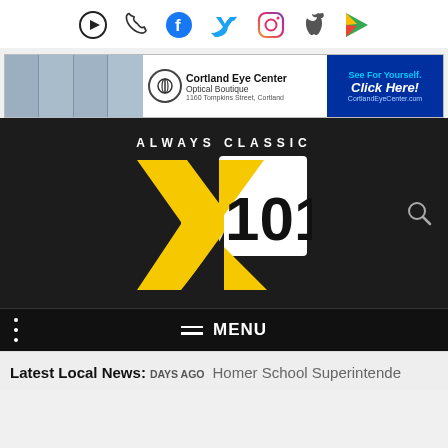[Figure (infographic): Top icon bar with play button, phone, Facebook, Twitter, Instagram, Apple, and Google Play icons]
[Figure (infographic): Cortland Eye Center Optical Boutique advertisement banner with staff photos, logo, and 'See For Yourself. Click Here!' call to action]
[Figure (logo): Always Classic X101 radio station logo on dark background with search icon]
[Figure (infographic): Navigation menu bar with hamburger menu icon and MENU text]
Latest Local News: DAYS AGO  Homer School Superintende